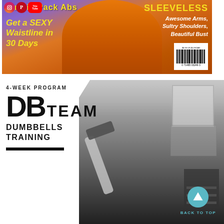[Figure (photo): Magazine cover showing fitness/body with social media icons (Instagram, Pinterest, YouTube) in top left corner. Text overlays include 'SECRETS for Six-Pack Abs', 'SLEEVELESS Awesome Arms, Sultry Shoulders, Beautiful Bust', 'Get a SEXY Waistline in 30 Days', and a barcode in bottom right.]
[Figure (photo): Black and white gym photo showing person lifting dumbbells, with gym equipment and weights rack visible in background. Overlaid with program info: '4-WEEK PROGRAM', 'DB TEAM', 'DUMBBELLS TRAINING' and a 'BACK TO TOP' button.]